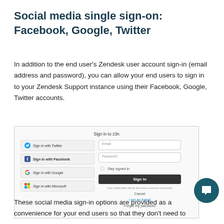Social media single sign-on: Facebook, Google, Twitter
In addition to the end user's Zendesk user account sign-in (email address and password), you can allow your end users to sign in to your Zendesk Support instance using their Facebook, Google, Twitter accounts.
[Figure (screenshot): Screenshot of a Zendesk sign-in dialog showing social sign-on buttons for Twitter, Facebook, Google, and Microsoft on the left, and email/password fields with a Sign In button on the right. Title reads 'Sign in to z3n'.]
These social media sign-in options are provided as a convenience for your end users so that they don't need to